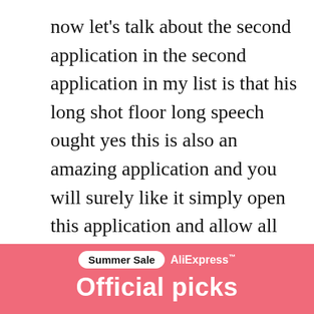now let's talk about the second application in the second application in my list is that his long shot floor long speech ought yes this is also an amazing application and you will surely like it simply open this application and allow all the permission to this application and then check the first option that is also strong and then click on okay and allow this application all the permission what exactly this application going to do for you with this application.
you can even the big the big and long screen
[Figure (infographic): AliExpress Summer Sale advertisement banner with 'Summer Sale' badge and AliExpress logo, showing 'Official picks' text on pink/red background]